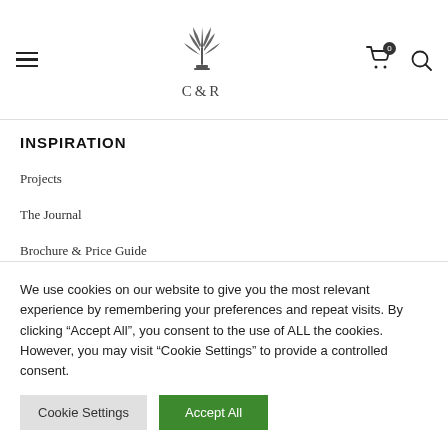[Figure (logo): C&R brand logo with decorative wheat/feather graphic above text C&R]
INSPIRATION
Projects
The Journal
Brochure & Price Guide
Showrooms
We use cookies on our website to give you the most relevant experience by remembering your preferences and repeat visits. By clicking “Accept All”, you consent to the use of ALL the cookies. However, you may visit “Cookie Settings” to provide a controlled consent.
Cookie Settings | Accept All